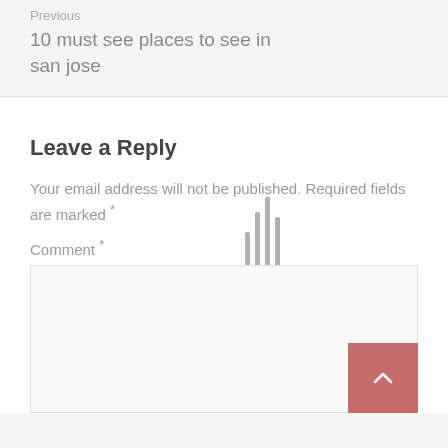Previous
10 must see places to see in san jose
Leave a Reply
Your email address will not be published. Required fields are marked *
Comment *